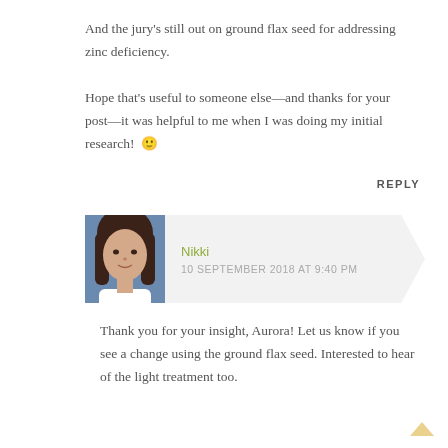And the jury's still out on ground flax seed for addressing zinc deficiency.

Hope that's useful to someone else—and thanks for your post—it was helpful to me when I was doing my initial research! 🙂
REPLY
[Figure (photo): Avatar photo of commenter Nikki, a woman with long brown hair]
Nikki
10 SEPTEMBER 2018 AT 9:40 PM
Thank you for your insight, Aurora! Let us know if you see a change using the ground flax seed. Interested to hear of the light treatment too.